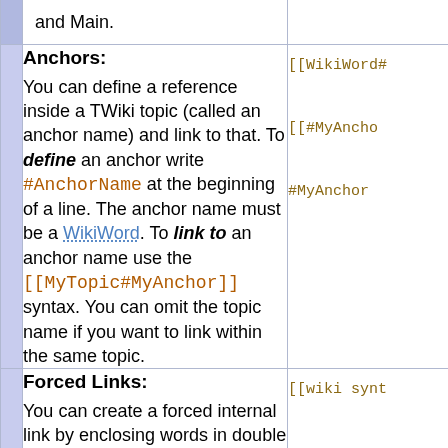|  | Description | Syntax |
| --- | --- | --- |
|  | and Main. |  |
|  | Anchors:
You can define a reference inside a TWiki topic (called an anchor name) and link to that. To define an anchor write #AnchorName at the beginning of a line. The anchor name must be a WikiWord. To link to an anchor name use the [[MyTopic#MyAnchor]] syntax. You can omit the topic name if you want to link within the same topic. | [[WikiWord#

[[#MyAnchor

#MyAnchor T |
|  | Forced Links:
You can create a forced internal link by enclosing words in double square brackets. | [[wiki synt

[[Main.TWik |